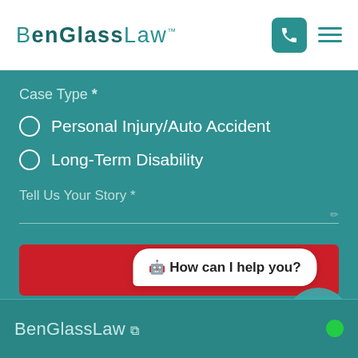BenGlassLaw™
Case Type *
Personal Injury/Auto Accident
Long-Term Disability
Tell Us Your Story *
Submit
Protected By Google reCAPTCHA | Privacy - Terms
🤖 How can I help you?
BenGlassLaw ↗